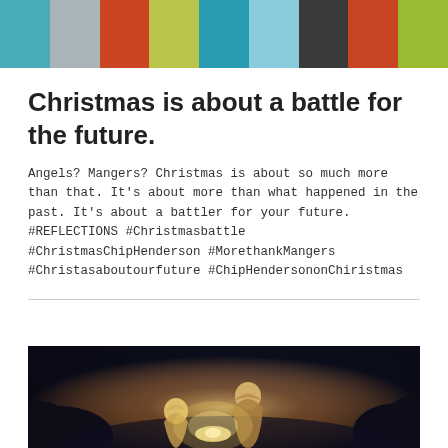[Figure (illustration): Decorative color bar strip at top of page with colored rectangular blocks: teal/blue, light gray, orange-red, yellow-green, teal, light blue, dark charcoal, orange-red, yellow-green]
Christmas is about a battle for the future.
Angels? Mangers? Christmas is about so much more than that. It's about more than what happened in the past. It's about a battler for your future. #REFLECTIONS #Christmasbattle #ChristmasChipHenderson #MorethankMangers #Christasaboutourfuture #ChipHendersononChiristmas
[Figure (photo): Nativity scene photo showing Mary, Joseph, and baby Jesus in a dark manger scene with warm glowing light]